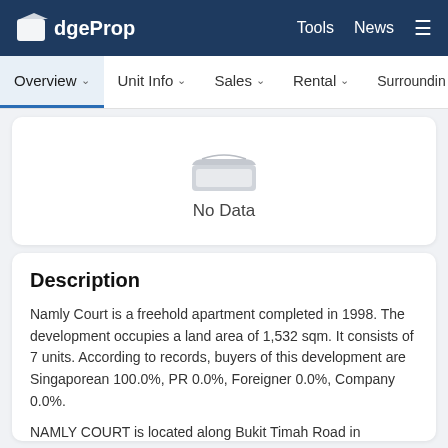EdgeProp | Tools | News
Overview | Unit Info | Sales | Rental | Surroundin
[Figure (illustration): Empty inbox tray icon indicating no data]
No Data
Description
Namly Court is a freehold apartment completed in 1998. The development occupies a land area of 1,532 sqm. It consists of 7 units. According to records, buyers of this development are Singaporean 100.0%, PR 0.0%, Foreigner 0.0%, Company 0.0%.
NAMLY COURT is located along Bukit Timah Road in